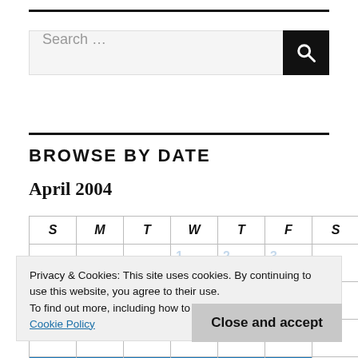Search ...
BROWSE BY DATE
April 2004
| S | M | T | W | T | F | S |
| --- | --- | --- | --- | --- | --- | --- |
|  |  |  | 1 | 2 | 3 |  |
| 4 | 5 | 6 | 7 | 8 | 9 | 10 |
| 11 | 12 | 13 | 14 | 15 | 16 | 17 |
|  |  |  |  |  |  |  |
Privacy & Cookies: This site uses cookies. By continuing to use this website, you agree to their use.
To find out more, including how to control cookies, see here: Cookie Policy
Close and accept